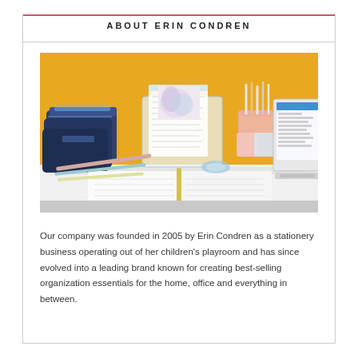ABOUT ERIN CONDREN
[Figure (photo): A styled desk scene with Erin Condren products: navy blue pouch bags stacked on left, a clear acrylic organizer in center with a planner/notepad, pink pen cups with pens, a laptop on the right, and an open planner/binder in the foreground, all on a white desk surface against a yellow/amber background wall.]
Our company was founded in 2005 by Erin Condren as a stationery business operating out of her children's playroom and has since evolved into a leading brand known for creating best-selling organization essentials for the home, office and everything in between.